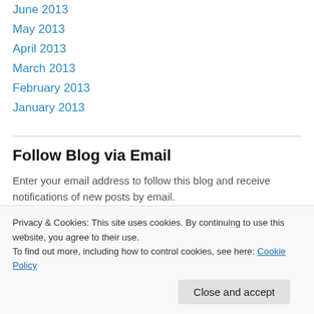June 2013
May 2013
April 2013
March 2013
February 2013
January 2013
Follow Blog via Email
Enter your email address to follow this blog and receive notifications of new posts by email.
Enter your email address
Privacy & Cookies: This site uses cookies. By continuing to use this website, you agree to their use.
To find out more, including how to control cookies, see here: Cookie Policy
Close and accept